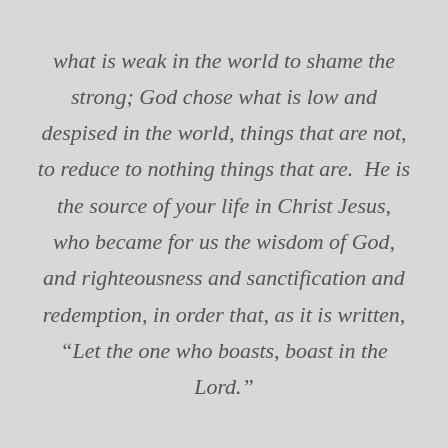what is weak in the world to shame the strong; God chose what is low and despised in the world, things that are not, to reduce to nothing things that are. He is the source of your life in Christ Jesus, who became for us the wisdom of God, and righteousness and sanctification and redemption, in order that, as it is written, “Let the one who boasts, boast in the Lord.”